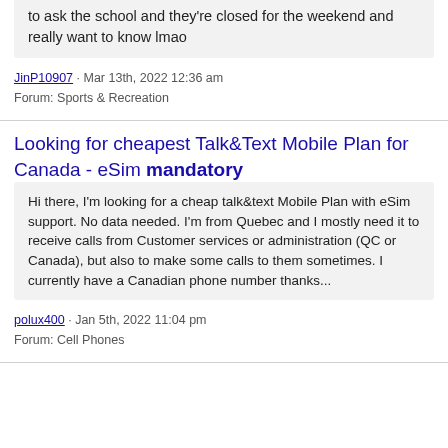to ask the school and they're closed for the weekend and really want to know lmao
JinP10907 · Mar 13th, 2022 12:36 am
Forum: Sports & Recreation
Looking for cheapest Talk&Text Mobile Plan for Canada - eSim mandatory
Hi there, I'm looking for a cheap talk&text Mobile Plan with eSim support. No data needed. I'm from Quebec and I mostly need it to receive calls from Customer services or administration (QC or Canada), but also to make some calls to them sometimes. I currently have a Canadian phone number thanks...
polux400 · Jan 5th, 2022 11:04 pm
Forum: Cell Phones